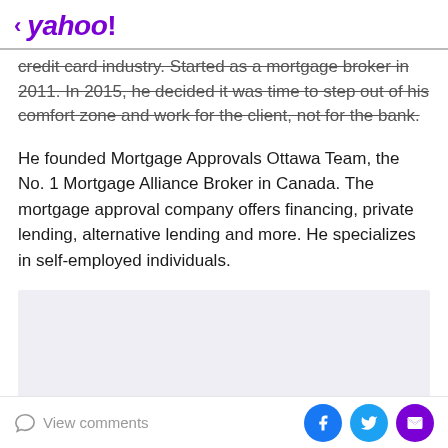< yahoo!
credit card industry. Started as a mortgage broker in 2011. In 2015, he decided it was time to step out of his comfort zone and work for the client, not for the bank.
He founded Mortgage Approvals Ottawa Team, the No. 1 Mortgage Alliance Broker in Canada. The mortgage approval company offers financing, private lending, alternative lending and more. He specializes in self-employed individuals.
[Figure (other): Advertisement placeholder box with light gray background]
View comments | Share on Facebook, Twitter, Email